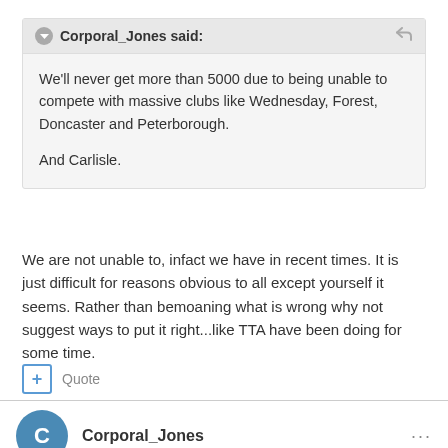Corporal_Jones said:
We'll never get more than 5000 due to being unable to compete with massive clubs like Wednesday, Forest, Doncaster and Peterborough.

And Carlisle.
We are not unable to, infact we have in recent times. It is just difficult for reasons obvious to all except yourself it seems. Rather than bemoaning what is wrong why not suggest ways to put it right...like TTA have been doing for some time.
+ Quote
Corporal_Jones